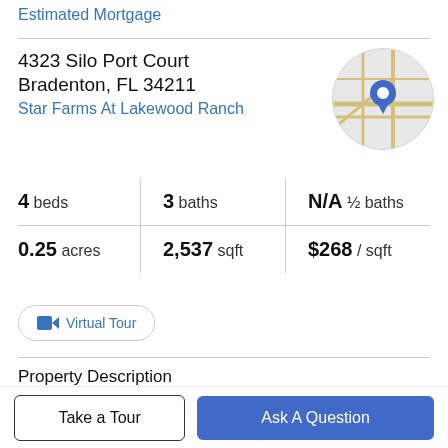Estimated Mortgage
4323 Silo Port Court
Bradenton, FL 34211
Star Farms At Lakewood Ranch
[Figure (map): Circular map thumbnail showing street map with a blue location pin marker]
4 beds | 3 baths | N/A ½ baths | 0.25 acres | 2,537 sqft | $268 / sqft
Virtual Tour
Property Description
Star Farms at Lakewood Ranch is our 700-acre gated neighborhood in the award-winning master-planned
Take a Tour
Ask A Question